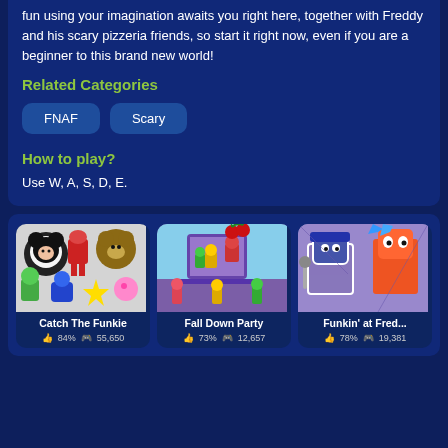fun using your imagination awaits you right here, together with Freddy and his scary pizzeria friends, so start it right now, even if you are a beginner to this brand new world!
Related Categories
FNAF
Scary
How to play?
Use W, A, S, D, E.
[Figure (screenshot): Game card for Catch The Funkie showing a collage of cartoon characters]
Catch The Funkie
84%  55,650
[Figure (screenshot): Game card for Fall Down Party showing colorful characters with cherries]
Fall Down Party
73%  12,657
[Figure (screenshot): Game card for Funkin at Fred... showing stylized character art]
Funkin' at Fred...
78%  19,381